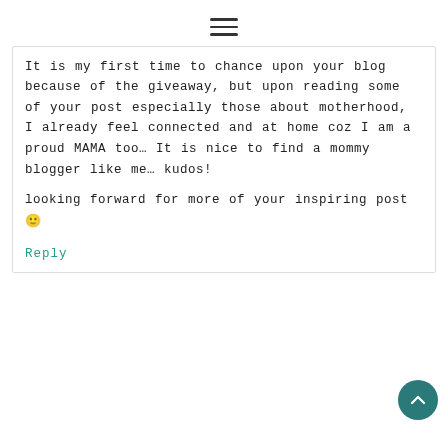≡
It is my first time to chance upon your blog because of the giveaway, but upon reading some of your post especially those about motherhood, I already feel connected and at home coz I am a proud MAMA too… It is nice to find a mommy blogger like me… kudos!

looking forward for more of your inspiring post 🙂
Reply